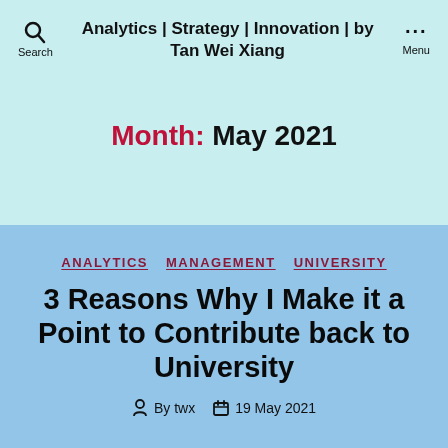Analytics | Strategy | Innovation | by Tan Wei Xiang
Month: May 2021
ANALYTICS  MANAGEMENT  UNIVERSITY
3 Reasons Why I Make it a Point to Contribute back to University
By twx  19 May 2021